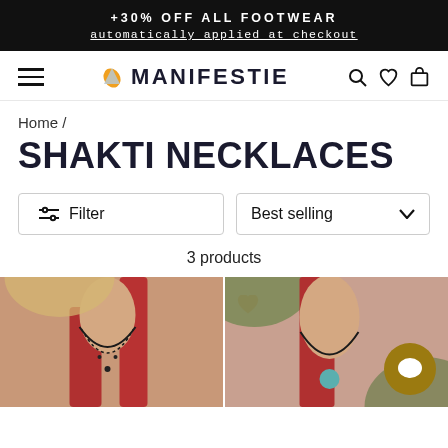+30% OFF ALL FOOTWEAR automatically applied at checkout
[Figure (screenshot): Manifestie e-commerce site navigation bar with hamburger menu, leaf logo, search, heart, and cart icons]
Home /
SHAKTI NECKLACES
Filter
Best selling
3 products
[Figure (photo): Woman wearing a black macrame necklace over a red top, left product photo]
[Figure (photo): Woman wearing a black macrame necklace with teal stone over a red top, right product photo, with chat bubble overlay]